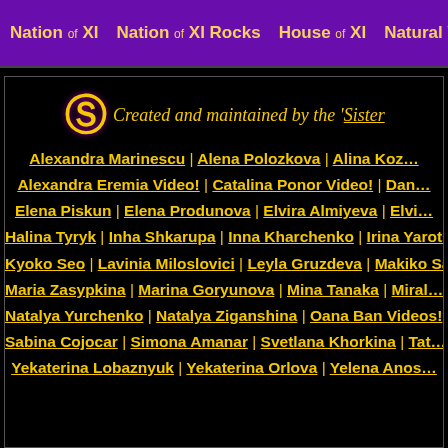Nation of XI | Nation of XI Rocks | House of XI | Natural Wonder
Created and maintained by the 'Sister
Alexandra Marinescu | Alena Polozkova | Alina Koz...
Alexandra Eremia Video! | Catalina Ponor Video! | Dan...
Elena Piskun | Elena Produnova | Elvira Almiyeva | Elvi...
Halina Tyryk | Inha Shkarupa | Inna Kharchenko | Irina Yarots...
Kyoko Seo | Lavinia Miloslovici | Leyla Gruzdeva | Makiko Sana...
Maria Zasypkina | Marina Goryunova | Mina Tanaka | Miral...
Natalya Yurchenko | Natalya Ziganshina | Oana Ban Videos! | Ole...
Sabina Cojocar | Simona Amanar | Svetlana Khorkina | Tat...
Yekaterina Lobaznyuk | Yekaterina Orlova | Yelena Anos...